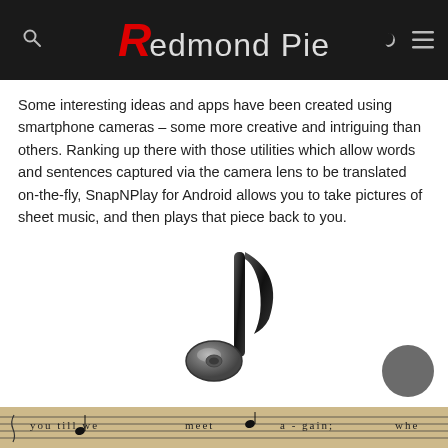Redmond Pie
Some interesting ideas and apps have been created using smartphone cameras – some more creative and intriguing than others. Ranking up there with those utilities which allow words and sentences captured via the camera lens to be translated on-the-fly, SnapNPlay for Android allows you to take pictures of sheet music, and then plays that piece back to you.
[Figure (illustration): A 3D rendered black and silver musical note icon on a white background, with a dark grey circle in the bottom right corner.]
[Figure (photo): A close-up photograph of sheet music with musical staff lines and printed song lyrics visible.]